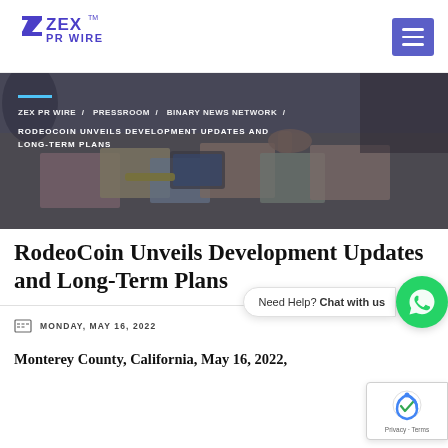[Figure (logo): ZEX PR WIRE logo with stylized Z/X mark and text 'ZEX PR WIRE' in blue, with TM mark]
[Figure (photo): Hero banner image of people working around a table with colorful papers and tablets, overlaid with dark tint and breadcrumb navigation text]
RodeoCoin Unveils Development Updates and Long-Term Plans
MONDAY, MAY 16, 2022
Monterey County, California, May 16, 2022,